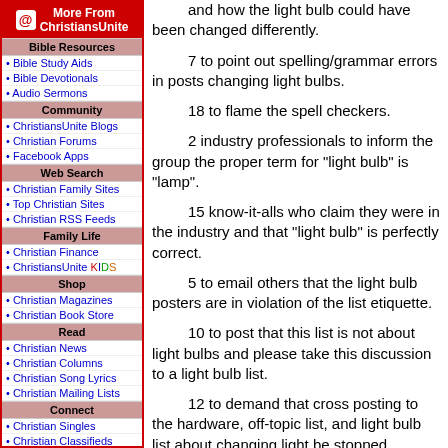More From ChristiansUnite sidebar navigation
and how the light bulb could have been changed differently.
7 to point out spelling/grammar errors in posts changing light bulbs.
18 to flame the spell checkers.
2 industry professionals to inform the group the proper term for "light bulb" is "lamp".
15 know-it-alls who claim they were in the industry and that "light bulb" is perfectly correct.
5 to email others that the light bulb posters are in violation of the list etiquette.
10 to post that this list is not about light bulbs and please take this discussion to a light bulb list.
12 to demand that cross posting to the hardware, off-topic list, and light bulb list about changing light be stopped.
17 to defend the posting to this list saying that they use light bulbs and therefore the posts are relevant to list.